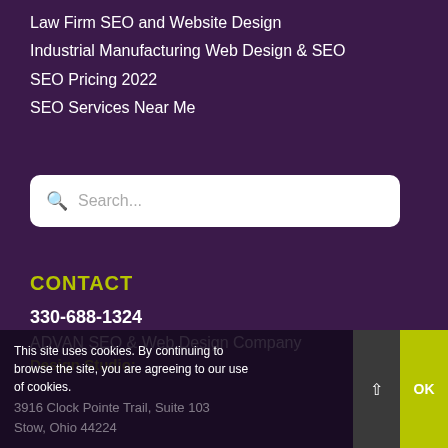Law Firm SEO and Website Design
Industrial Manufacturing Web Design & SEO
SEO Pricing 2022
SEO Services Near Me
[Figure (other): Search input box with magnifying glass icon and placeholder text 'Search...']
CONTACT
330-688-1324
ADVAN SEO & Web Design Company
Design Studio:
This site uses cookies. By continuing to browse the site, you are agreeing to our use of cookies.
3916 Clock Pointe Trail, Suite 103
Stow, Ohio 44224